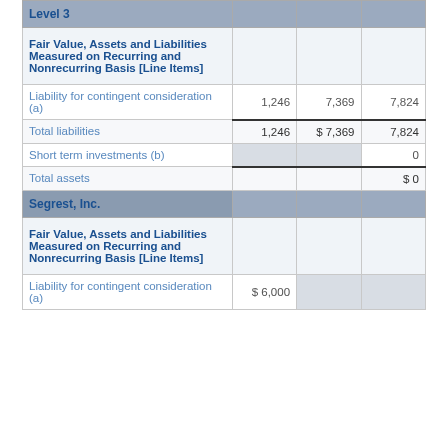| Level 3 |  |  |  |
| --- | --- | --- | --- |
| Fair Value, Assets and Liabilities Measured on Recurring and Nonrecurring Basis [Line Items] |  |  |  |
| Liability for contingent consideration (a) | 1,246 | 7,369 | 7,824 |
| Total liabilities | 1,246 | $ 7,369 | 7,824 |
| Short term investments (b) |  |  | 0 |
| Total assets |  |  | $ 0 |
| Segrest, Inc. |  |  |  |
| Fair Value, Assets and Liabilities Measured on Recurring and Nonrecurring Basis [Line Items] |  |  |  |
| Liability for contingent consideration (a) | $ 6,000 |  |  |